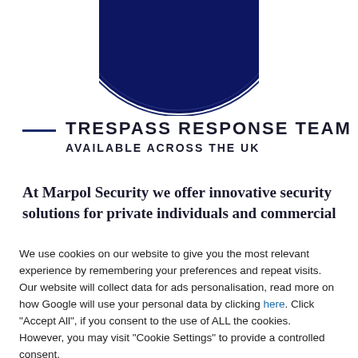[Figure (logo): Circular dark navy blue logo/emblem for Marpol Security, partially visible at the top of the page — only the bottom half of the circle is shown]
TRESPASS RESPONSE TEAM
AVAILABLE ACROSS THE UK
At Marpol Security we offer innovative security solutions for private individuals and commercial
We use cookies on our website to give you the most relevant experience by remembering your preferences and repeat visits. Our website will collect data for ads personalisation, read more on how Google will use your personal data by clicking here. Click "Accept All", if you consent to the use of ALL the cookies. However, you may visit "Cookie Settings" to provide a controlled consent.